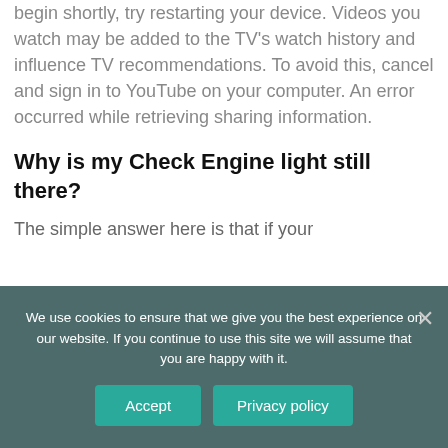begin shortly, try restarting your device. Videos you watch may be added to the TV's watch history and influence TV recommendations. To avoid this, cancel and sign in to YouTube on your computer. An error occurred while retrieving sharing information.
Why is my Check Engine light still there?
The simple answer here is that if your
We use cookies to ensure that we give you the best experience on our website. If you continue to use this site we will assume that you are happy with it.